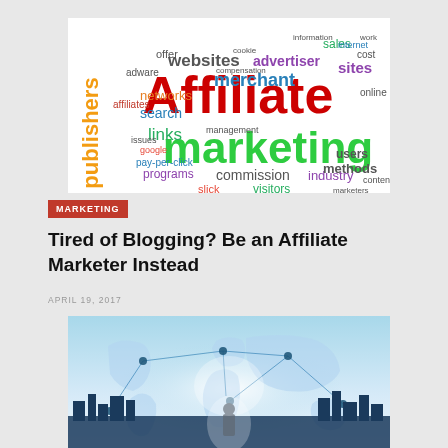[Figure (illustration): Affiliate marketing word cloud with large red 'Affiliate marketing' text and various related terms in multiple colors including websites, merchant, advertiser, publishers, search, links, networks, commission, industry, visitors, users, methods, programs, pay-per-click, etc.]
MARKETING
Tired of Blogging? Be an Affiliate Marketer Instead
APRIL 19, 2017
[Figure (photo): Person standing facing away toward a glowing world map with network connection lines and dots, city skyline in the background, blue tones.]